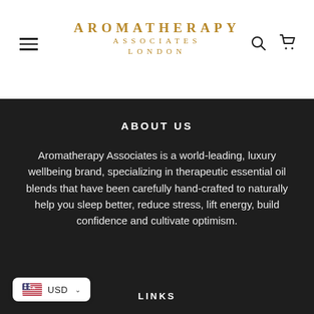AROMATHERAPY ASSOCIATES LONDON
ABOUT US
Aromatherapy Associates is a world-leading, luxury wellbeing brand, specializing in therapeutic essential oil blends that have been carefully hand-crafted to naturally help you sleep better, reduce stress, lift energy, build confidence and cultivate optimism.
LINKS
USD